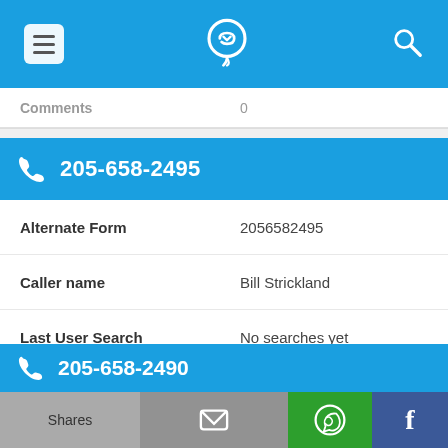Navigation bar with menu, phone locator logo, and search icons
Comments  0
205-658-2495
| Field | Value |
| --- | --- |
| Alternate Form | 2056582495 |
| Caller name | Bill Strickland |
| Last User Search | No searches yet |
| Comments | 0 |
205-658-2490
Shares  [email]  [WhatsApp]  [Facebook]